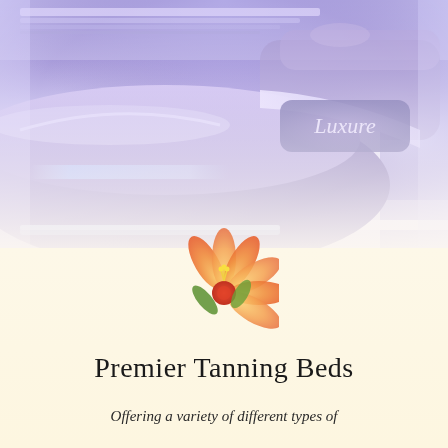[Figure (photo): A purple/violet tanning bed with 'Luxure' branding label visible on the unit, photographed in a tanning salon room with blue-purple ambient lighting. A second tanning bed is partially visible in the background.]
[Figure (illustration): A decorative hibiscus flower illustration in orange, pink, red and yellow tones with green leaves, positioned at the transition between the photo and the cream background.]
Premier Tanning Beds
Offering a variety of different types of